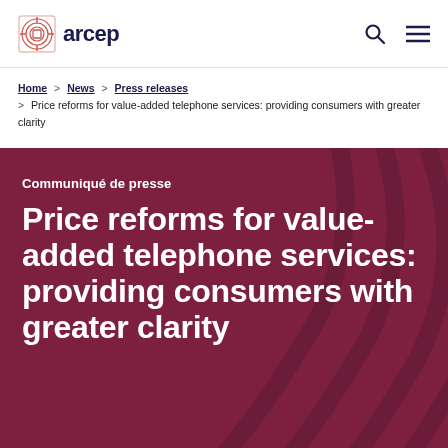arcep
Home > News > Press releases > Price reforms for value-added telephone services: providing consumers with greater clarity
Communiqué de presse
Price reforms for value-added telephone services: providing consumers with greater clarity